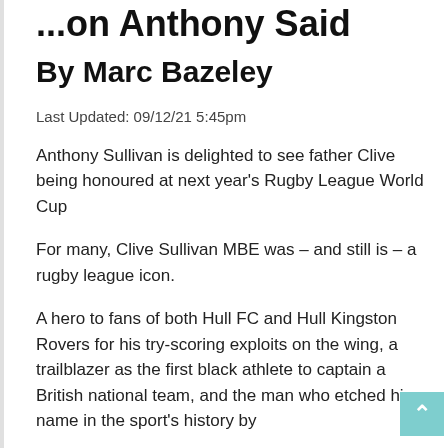...on Anthony Said
By Marc Bazeley
Last Updated: 09/12/21 5:45pm
Anthony Sullivan is delighted to see father Clive being honoured at next year's Rugby League World Cup
For many, Clive Sullivan MBE was – and still is – a rugby league icon.
A hero to fans of both Hull FC and Hull Kingston Rovers for his try-scoring exploits on the wing, a trailblazer as the first black athlete to captain a British national team, and the man who etched his name in the sport's history by